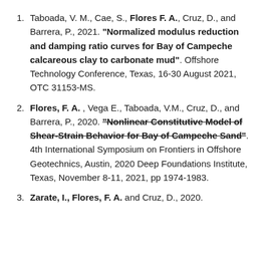1. Taboada, V. M., Cae, S., Flores F. A., Cruz, D., and Barrera, P., 2021. "Normalized modulus reduction and damping ratio curves for Bay of Campeche calcareous clay to carbonate mud". Offshore Technology Conference, Texas, 16-30 August 2021, OTC 31153-MS.
2. Flores, F. A., Vega E., Taboada, V.M., Cruz, D., and Barrera, P., 2020. "Nonlinear Constitutive Model of Shear-Strain Behavior for Bay of Campeche Sand". 4th International Symposium on Frontiers in Offshore Geotechnics, Austin, 2020 Deep Foundations Institute, Texas, November 8-11, 2021, pp 1974-1983.
3. Zarate, I., Flores, F. A. and Cruz, D., 2020.